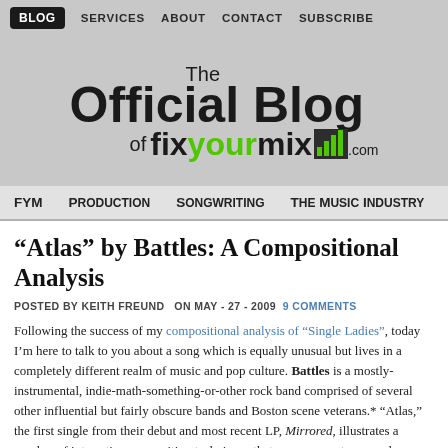BLOG  SERVICES  ABOUT  CONTACT  SUBSCRIBE
[Figure (logo): The Official Blog of fixyourmix.com logo with green accent and bar chart icon]
FYM  Production  Songwriting  The Music Industry
“Atlas” by Battles: A Compositional Analysis
POSTED BY KEITH FREUND  ON MAY - 27 - 2009  9 COMMENTS
Following the success of my compositional analysis of “Single Ladies”, today I’m here to talk to you about a song which is equally unusual but lives in a completely different realm of music and pop culture. Battles is a mostly-instrumental, indie-math-something-or-other rock band comprised of several other influential but fairly obscure bands and Boston scene veterans.* “Atlas,” the first single from their debut and most recent LP, Mirrored, illustrates a number of interesting songwriting techniques that you can use to expand or understand your own writing